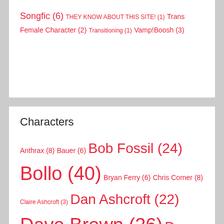Songfic (6) THEY KNOW ABOUT THIS SITE! (1) Trans Female Character (2) Transitioning (1) Vamp!Boosh (3)
Characters
Anthrax (8) Bauer (6) Bob Fossil (24) Bollo (40) Bryan Ferry (6) Chris Corner (8) Claire Ashcroft (3) Dan Ashcroft (22) Dave Brown (26) Dee Plume (22) Dennis (1) Dixon Bainbridge (20) Ebola (8) Graham (3) Howard Moon (239) Joey Moose (1) Jones (22) Julia Davis (1) Julian Barratt